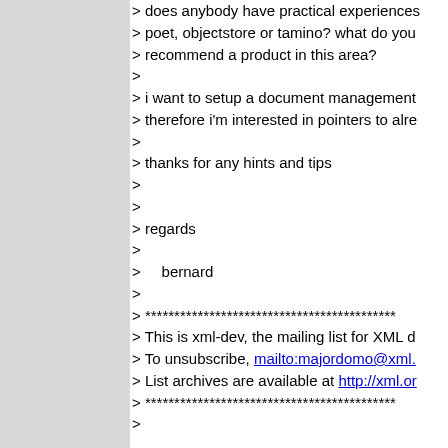> does anybody have practical experiences
> poet, objectstore or tamino? what do you
> recommend a product in this area?
>
> i want to setup a document management
> therefore i'm interested in pointers to alre
>
> thanks for any hints and tips
>
>
> regards
>
>     bernard
>
> ****************************
> This is xml-dev, the mailing list for XML d
> To unsubscribe, mailto:majordomo@xml.
> List archives are available at http://xml.or
> ****************************
>

****************************
This is xml-dev, the mailing list for XML dev
To unsubscribe, mailto:majordomo@xml.or